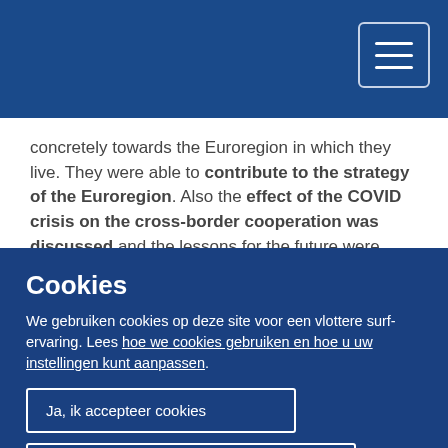[Figure (other): Navy blue top navigation bar with hamburger menu button (three horizontal white lines) in top-right corner]
concretely towards the Euroregion in which they live. They were able to contribute to the strategy of the Euroregion. Also the effect of the COVID crisis on the cross-border cooperation was discussed and the lessons for the future were identified.
The debate was conducted by
Pavel Branda, Ph.D., CoR Member, Deputy Mayor of Rádlo municipality and Vice-Preseident of the
Cookies
We gebruiken cookies op deze site voor een vlottere surf-ervaring. Lees hoe we cookies gebruiken en hoe u uw instellingen kunt aanpassen.
Ja, ik accepteer cookies
Nee, ik accepteer geen cookies